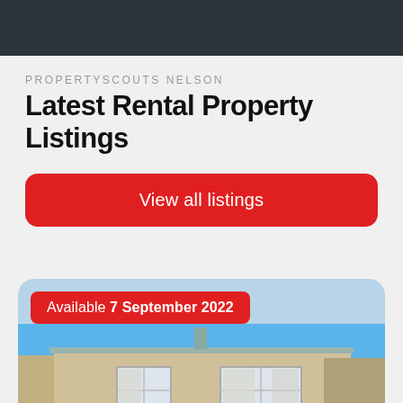PROPERTYSCOUTS NELSON
Latest Rental Property Listings
View all listings
Available 7 September 2022
[Figure (photo): Exterior photo of a two-storey residential house with beige/cream stucco walls, grey roof, white-framed windows, under a clear blue sky.]